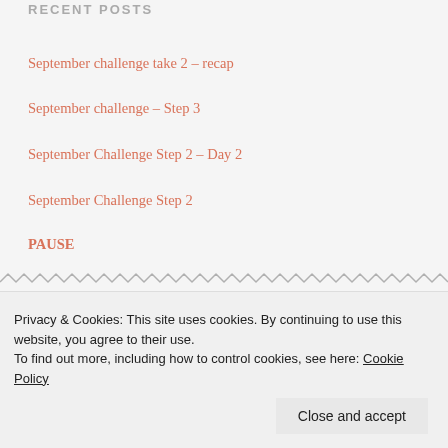RECENT POSTS
September challenge take 2 – recap
September challenge – Step 3
September Challenge Step 2 – Day 2
September Challenge Step 2
PAUSE
RECENT COMMENTS
September challenge… on September Challenge
Privacy & Cookies: This site uses cookies. By continuing to use this website, you agree to their use. To find out more, including how to control cookies, see here: Cookie Policy
Close and accept